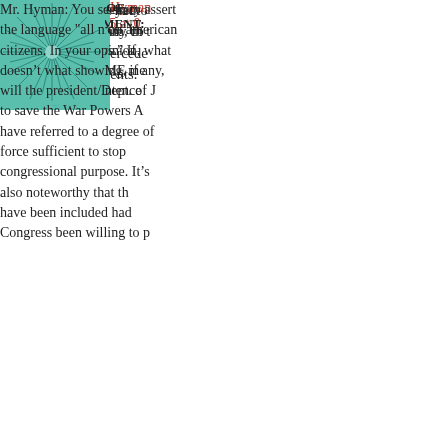that the convention had exceeded its mandate, in t
Incidentally, I have yet to hear anyone offer any co AUMF did not supercede any other requirements.
Posted by: Andrew Hyman | December 30, 2005 at 0
[Figure (illustration): Green teal decorative avatar icon with radial grid/burst pattern on square background]
CONTINUATION OF PREVIOUS COMMENT:
The words “all necessary and appropriate force” in all pre-existing laws.” If that’s what the AUMF me need for the last sentence to save the War Powers A have referred to a degree of force sufficient to stop congressional purpose. It’s also noteworthy that th have been included had Congress been willing to p
Posted by: Andrew Hyman | December 30, 2005 at 0
[Figure (illustration): Green teal decorative avatar icon with radial sunburst/spokes pattern on square background]
Mr. Hyman: You seem to assert the language "all n on american citizens. In your opinion, what doesn' what showing, if any, will the president/Dept. of J